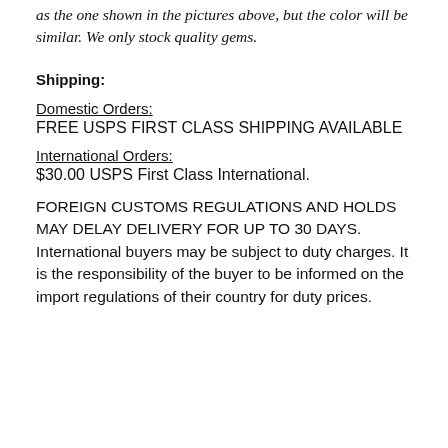as the one shown in the pictures above, but the color will be similar. We only stock quality gems.
Shipping:
Domestic Orders:
FREE USPS FIRST CLASS SHIPPING AVAILABLE
International Orders:
$30.00 USPS First Class International.
FOREIGN CUSTOMS REGULATIONS AND HOLDS MAY DELAY DELIVERY FOR UP TO 30 DAYS. International buyers may be subject to duty charges. It is the responsibility of the buyer to be informed on the import regulations of their country for duty prices.